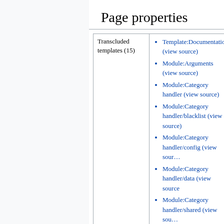Page properties
| Transcluded templates (15) | items |
| --- | --- |
| Transcluded templates (15) | Template:Documentation (view source)
Module:Arguments (view source)
Module:Category handler (view source)
Module:Category handler/blacklist (view source)
Module:Category handler/config (view source)
Module:Category handler/data (view source)
Module:Category handler/shared (view source)
Module:Documentation (view source) |